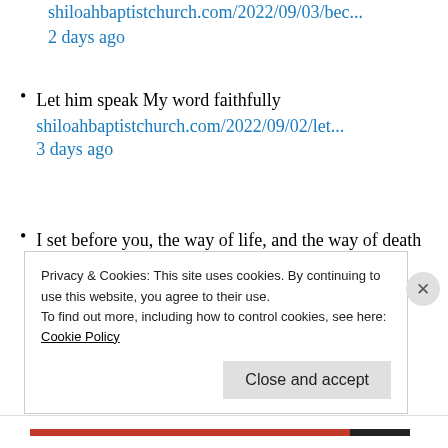shiloahbaptistchurch.com/2022/09/03/bec...
2 days ago
Let him speak My word faithfully
shiloahbaptistchurch.com/2022/09/02/let...
3 days ago
I set before you, the way of life, and the way of death
shiloahbaptistchurch.com/2022/09/01/i-s...
4 days ago
Privacy & Cookies: This site uses cookies. By continuing to use this website, you agree to their use.
To find out more, including how to control cookies, see here: Cookie Policy
Close and accept